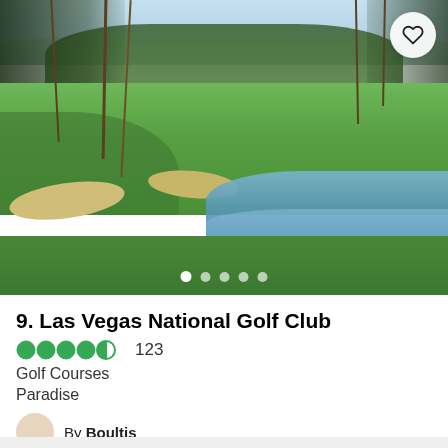[Figure (photo): Golf course photo showing green fairways, sand bunkers, a water hazard reflecting the sky, and palm trees in the background at Las Vegas National Golf Club]
9. Las Vegas National Golf Club
4 out of 5 circles rating, 123 reviews
Golf Courses
Paradise
By Boultis
The club has a driving range, chipping area and putting greens to warm yourself up on.